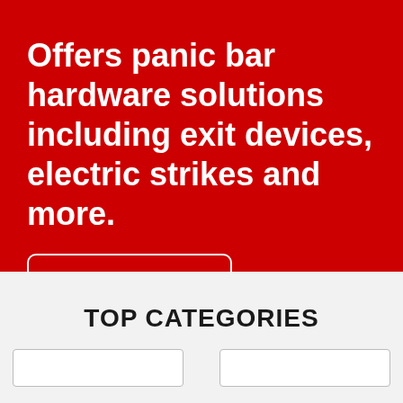Offers panic bar hardware solutions including exit devices, electric strikes and more.
SHOP ALL
TOP CATEGORIES